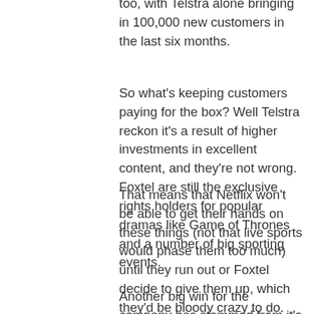too, with Telstra alone bringing in 100,000 new customers in the last six months.
So what's keeping customers paying for the box? Well Telstra reckon it's a result of higher investments in excellent content, and they're not wrong. Foxtel are still the exclusive rights holders for popular dramas like Game of Thrones and a number of big sporting events.
That means that Netflix won't be able to get their hands on these things (not that live sports would phase them too much) until they run out or Foxtel decide to give them up, which they'd be bloody crazy to do.
Another big win for the company has stemmed from it's decision to cut their